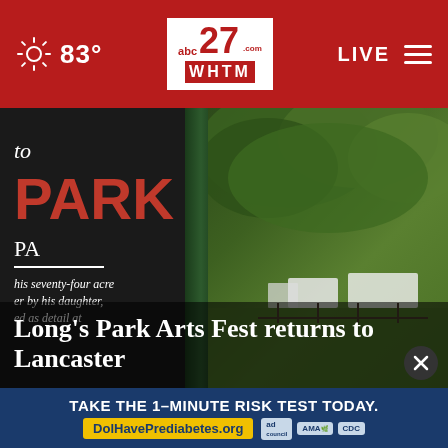83° | abc27 WHTM | LIVE
[Figure (screenshot): Video thumbnail of Long's Park sign with green post and trees in background, showing partial sign text 'to PARK PA, This seventy-four acre, ter by his daughter,' and title overlay 'Long's Park Arts Fest returns to Lancaster']
Long's Park Arts Fest returns to Lancaster
[Figure (infographic): Advertisement banner: TAKE THE 1-MINUTE RISK TEST TODAY. DolHavePrediabetes.org with ad council, AMA, and CDC logos]